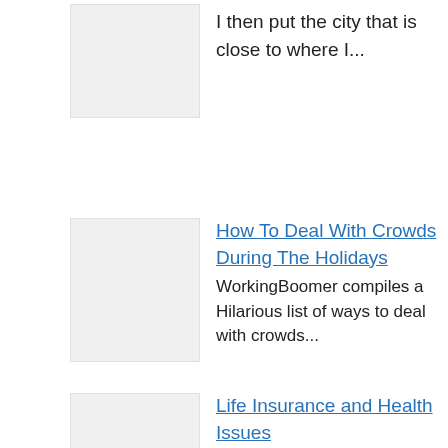[Figure (other): Thumbnail image placeholder (light gray box)]
I then put the city that is close to where I...
[Figure (other): Thumbnail image placeholder (light gray box)]
How To Deal With Crowds During The Holidays
WorkingBoomer compiles a Hilarious list of ways to deal with crowds...
[Figure (other): Thumbnail image placeholder (light gray box)]
Life Insurance and Health Issues
Life Insurance and Health Issues Typically, life insurance is most often...